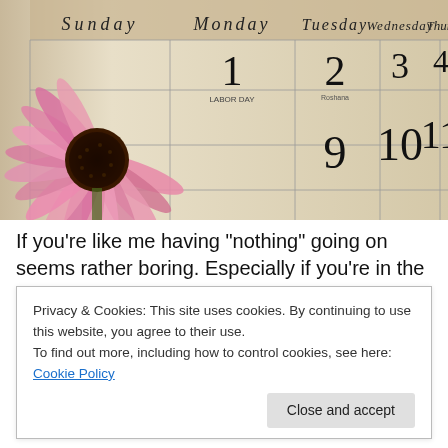[Figure (photo): A calendar showing September with days Sunday through Friday visible, numbers 1-12 visible with Labor Day on the 1st, overlaid with a pink coneflower (echinacea) in the foreground left side.]
If you’re like me having “nothing” going on seems rather boring. Especially if you’re in the business of
Privacy & Cookies: This site uses cookies. By continuing to use this website, you agree to their use.
To find out more, including how to control cookies, see here: Cookie Policy
Close and accept
response, I sensed the Lord’s hand rest on me like a dad